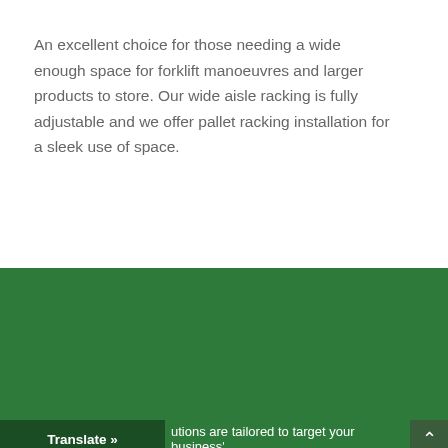An excellent choice for those needing a wide enough space for forklift manoeuvres and larger products to store. Our wide aisle racking is fully adjustable and we offer pallet racking installation for a sleek use of space.
Flexible pallet racking solutions and installation in Àird Uig
olutions are tailored to target your business'